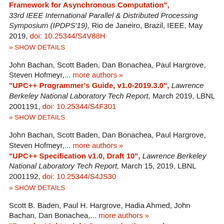Framework for Asynchronous Computation", 33rd IEEE International Parallel & Distributed Processing Symposium (IPDPS'19), Rio de Janeiro, Brazil, IEEE, May 2019, doi: 10.25344/S4V88H
» SHOW DETAILS
John Bachan, Scott Baden, Dan Bonachea, Paul Hargrove, Steven Hofmeyr,... more authors » "UPC++ Programmer's Guide, v1.0-2019.3.0", Lawrence Berkeley National Laboratory Tech Report, March 2019, LBNL 2001191, doi: 10.25344/S4F301
» SHOW DETAILS
John Bachan, Scott Baden, Dan Bonachea, Paul Hargrove, Steven Hofmeyr,... more authors » "UPC++ Specification v1.0, Draft 10", Lawrence Berkeley National Laboratory Tech Report, March 15, 2019, LBNL 2001192, doi: 10.25344/S4JS30
» SHOW DETAILS
Scott B. Baden, Paul H. Hargrove, Hadia Ahmed, John Bachan, Dan Bonachea,... more authors » "Pagoda: Lightweight Communications and